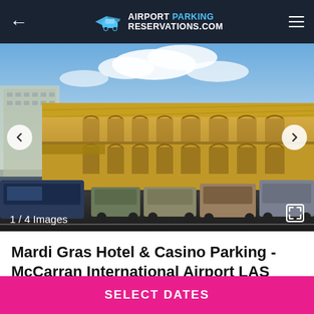Airport Parking Reservations.com
[Figure (photo): Exterior photo of Mardi Gras Hotel & Casino, a two-story yellow building with golden roof, arched facade details, and a parking lot filled with cars in front. Blue sky with clouds in background.]
1 / 4 Images
Mardi Gras Hotel & Casino Parking - McCarran International Airport LAS
UNAVAILABLE
SELECT DATES